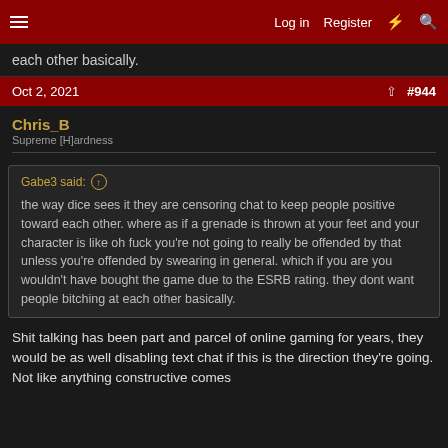Log in | Register | #944
each other basically.
Oct 2, 2021 #944
Chris_B
Supreme [H]ardness
Gabe3 said:
the way dice sees it they are censoring chat to keep people positive toward each other. where as if a grenade is thrown at your feet and your character is like oh fuck you're not going to really be offended by that unless you're offended by swearing in general. which if you are you wouldn't have bought the game due to the ESRB rating. they dont want people bitching at each other basically.
Shit talking has been part and parcel of online gaming for years, they would be as well disabling text chat if this is the direction they're going. Not like anything constructive comes